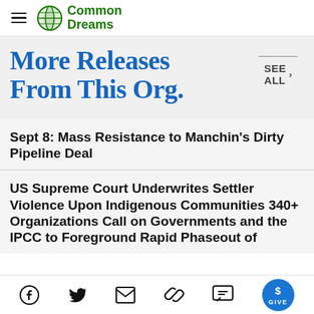Common Dreams
More Releases From This Org.
SEE ALL ›
Sept 8: Mass Resistance to Manchin's Dirty Pipeline Deal
US Supreme Court Underwrites Settler Violence Upon Indigenous Communities 340+ Organizations Call on Governments and the IPCC to Foreground Rapid Phaseout of
Social share icons: Facebook, Twitter, Email, Link, Comment, GIVE